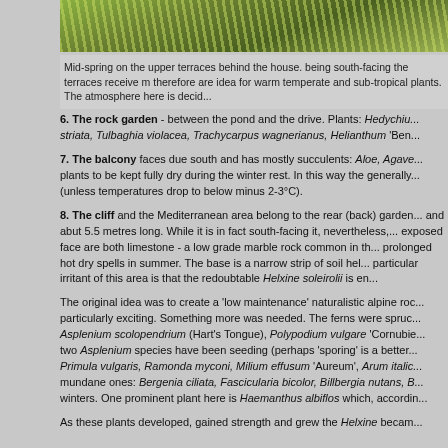[Figure (photo): Photograph of garden terraces with palm-like plants and greenery]
Mid-spring on the upper terraces behind the house. being south-facing the terraces receive m... therefore are idea for warm temperate and sub-tropical plants. The atmosphere here is decid...
6. The rock garden - between the pond and the drive. Plants: Hedychiu... striata, Tulbaghia violacea, Trachycarpus wagnerianus, Helianthum 'Ben...
7. The balcony faces due south and has mostly succulents: Aloe, Agave... plants to be kept fully dry during the winter rest. In this way the generally... (unless temperatures drop to below minus 2-3°C).
8. The cliff and the Mediterranean area belong to the rear (back) garden... and abut 5.5 metres long. While it is in fact south-facing it, nevertheless,... exposed face are both limestone - a low grade marble rock common in th... prolonged hot dry spells in summer. The base is a narrow strip of soil hel... particular irritant of this area is that the redoubtable Helxine soleirolii is en...
The original idea was to create a 'low maintenance' naturalistic alpine roc... particularly exciting. Something more was needed. The ferns were spruc... Asplenium scolopendrium (Hart's Tongue), Polypodium vulgare 'Cornubie... two Asplenium species have been seeding (perhaps 'sporing' is a better... Primula vulgaris, Ramonda myconi, Milium effusum 'Aureum', Arum italic... mundane ones: Bergenia ciliata, Fascicularia bicolor, Billbergia nutans, B... winters. One prominent plant here is Haemanthus albiflos which, accordin...
As these plants developed, gained strength and grew the Helxine becam...